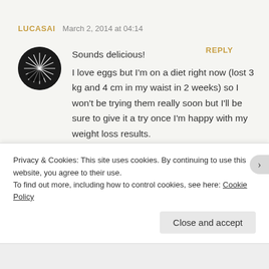LUCASAI   March 2, 2014 at 04:14   REPLY
Sounds delicious!
I love eggs but I'm on a diet right now (lost 3 kg and 4 cm in my waist in 2 weeks) so I won't be trying them really soon but I'll be sure to give it a try once I'm happy with my weight loss results.
Privacy & Cookies: This site uses cookies. By continuing to use this website, you agree to their use.
To find out more, including how to control cookies, see here: Cookie Policy
Close and accept